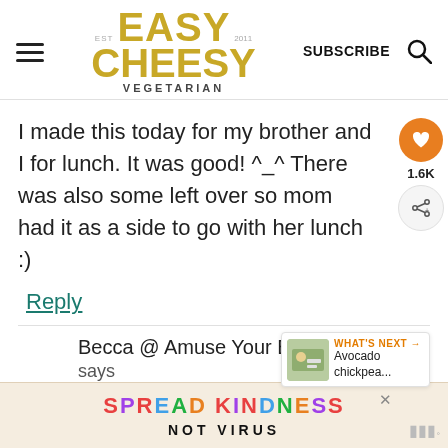EASY CHEESY VEGETARIAN — SUBSCRIBE
I made this today for my brother and I for lunch. It was good! ^_^ There was also some left over so mom had it as a side to go with her lunch :)
Reply
Becca @ Amuse Your Bouche
says
SPREAD KINDNESS NOT VIRUS